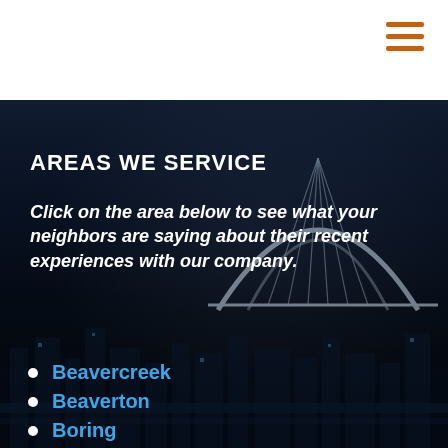[Figure (photo): Dark aerial night view of a city with a bridge arch visible in background and city buildings below, used as background image]
AREAS WE SERVICE
Click on the area below to see what your neighbors are saying about their recent experiences with our company.
Beavercreek
Beaverton
Boring